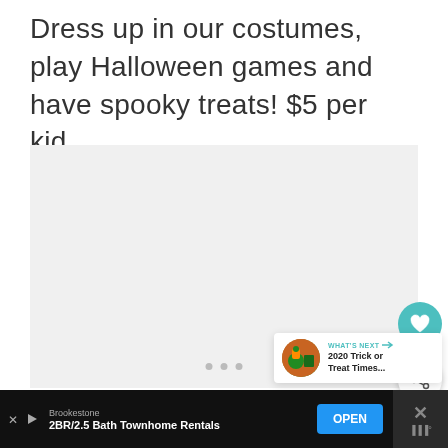Dress up in our costumes, play Halloween games and have spooky treats! $5 per kid.
[Figure (photo): Light gray image placeholder area with carousel navigation dots at the bottom, a teal heart/favorite button and a white share button on the right, and a 'What's Next' thumbnail card showing '2020 Trick or Treat Times...' in the bottom-right corner.]
WHAT'S NEXT → 2020 Trick or Treat Times...
Brookestone
2BR/2.5 Bath Townhome Rentals
OPEN